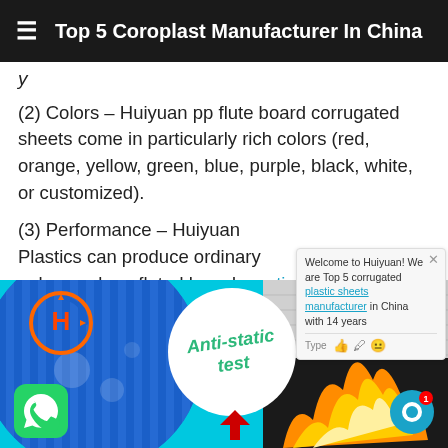Top 5 Coroplast Manufacturer In China
(partial) y
(2) Colors – Huiyuan pp flute board corrugated sheets come in particularly rich colors (red, orange, yellow, green, blue, purple, black, white, or customized).
(3) Performance – Huiyuan Plastics can produce ordinary polypropylene fluted boards, anti-static corrugated pp sheets, conductive pp hollow boards, flame retardant correx sheets, anti-ultraviolet pp corrugated boards, etc.).
[Figure (photo): Product promotional image showing anti-static corrugated pp sheets with Huiyuan logo, a blue corrugated circle, white circle with 'Anti-static test' text, and flame retardant sheets on the right. WhatsApp icon bottom left, chat circle bottom right.]